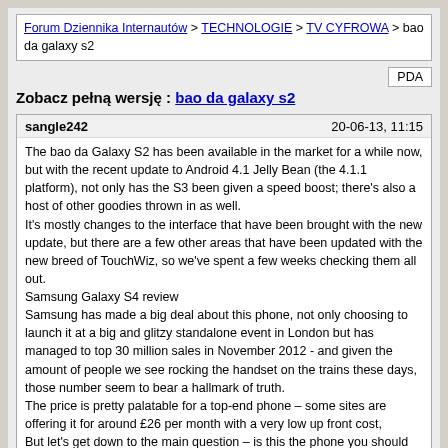Forum Dziennika Internautów > TECHNOLOGIE > TV CYFROWA > bao da galaxy s2
Zobacz pełną wersję : bao da galaxy s2
sangle242   20-06-13, 11:15
The bao da Galaxy S2 has been available in the market for a while now, but with the recent update to Android 4.1 Jelly Bean (the 4.1.1 platform), not only has the S3 been given a speed boost; there's also a host of other goodies thrown in as well.
It's mostly changes to the interface that have been brought with the new update, but there are a few other areas that have been updated with the new breed of TouchWiz, so we've spent a few weeks checking them all out.
Samsung Galaxy S4 review
Samsung has made a big deal about this phone, not only choosing to launch it at a big and glitzy standalone event in London but has managed to top 30 million sales in November 2012 - and given the amount of people we see rocking the handset on the trains these days, those number seem to bear a hallmark of truth.
The price is pretty palatable for a top-end phone – some sites are offering it for around £26 per month with a very low up front cost,
But let's get down to the main question – is this the phone you should be spending your hard-earned cash on?
rebecca2001   21-06-13, 17:13
http://img542.imageshack.us/img542/3528/15p.png (http://imageshack.us/photo/my-images/542/15p.png/)

Uploaded with ImageShack.us (http://imageshack.us)